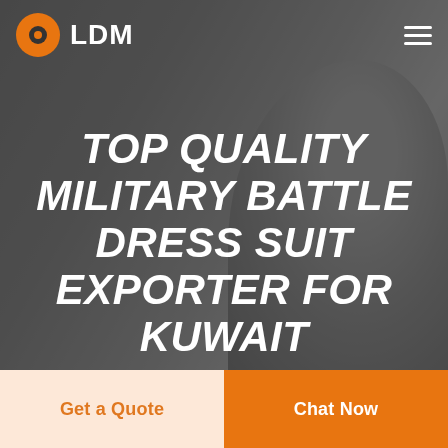[Figure (photo): Hero background showing a man smiling, in grayscale/dark overlay. Navigation bar with LDM logo and hamburger menu at top.]
TOP QUALITY MILITARY BATTLE DRESS SUIT EXPORTER FOR KUWAIT
Home
Get a Quote
Chat Now